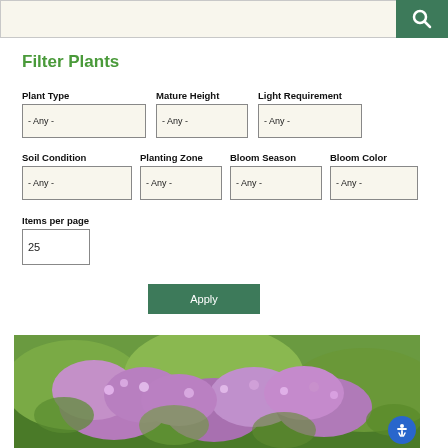[Figure (screenshot): Search bar with green search button icon]
Filter Plants
Plant Type - Any -
Mature Height - Any -
Light Requirement - Any -
Soil Condition - Any -
Planting Zone - Any -
Bloom Season - Any -
Bloom Color - Any -
Items per page 25
Apply
[Figure (photo): Photo of purple/pink lilac flowers with green foliage]